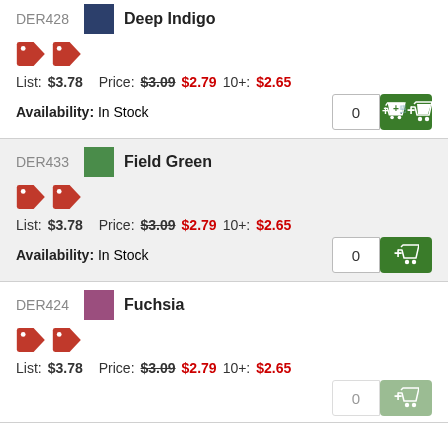DER428 Deep Indigo
List: $3.78  Price: $3.09 $2.79  10+: $2.65
Availability: In Stock
DER433 Field Green
List: $3.78  Price: $3.09 $2.79  10+: $2.65
Availability: In Stock
DER424 Fuchsia
List: $3.78  Price: $3.09 $2.79  10+: $2.65